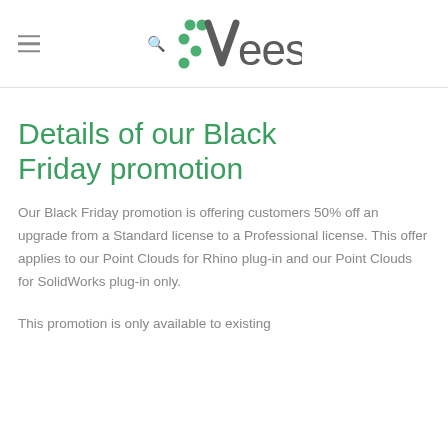Veesus
Details of our Black Friday promotion
Our Black Friday promotion is offering customers 50% off an upgrade from a Standard license to a Professional license. This offer applies to our Point Clouds for Rhino plug-in and our Point Clouds for SolidWorks plug-in only.
This promotion is only available to existing